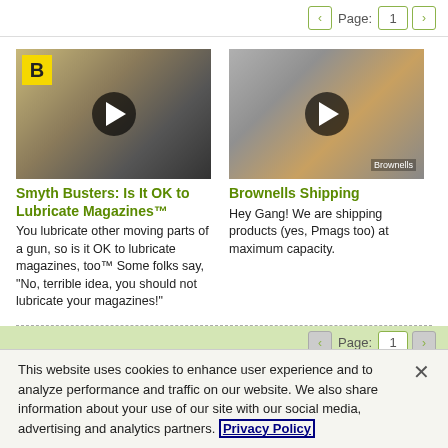Page: 1
[Figure (screenshot): Video thumbnail for Smyth Busters magazine lubrication video with yellow B logo and play button]
Smyth Busters: Is It OK to Lubricate Magazines™
You lubricate other moving parts of a gun, so is it OK to lubricate magazines, too™ Some folks say, "No, terrible idea, you should not lubricate your magazines!"
[Figure (screenshot): Video thumbnail for Brownells Shipping video with play button overlay and Brownells logo]
Brownells Shipping
Hey Gang! We are shipping products (yes, Pmags too) at maximum capacity.
Page: 1
This website uses cookies to enhance user experience and to analyze performance and traffic on our website. We also share information about your use of our site with our social media, advertising and analytics partners. Privacy Policy